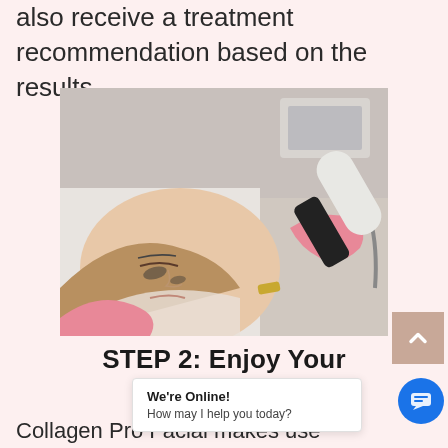also receive a treatment recommendation based on the results.
[Figure (photo): Woman receiving a facial treatment with a handheld device applied to her face by a technician wearing pink gloves, in a clinical/spa setting]
STEP 2: Enjoy Your
We're Online! How may I help you today?
Collagen Pro Facial makes use